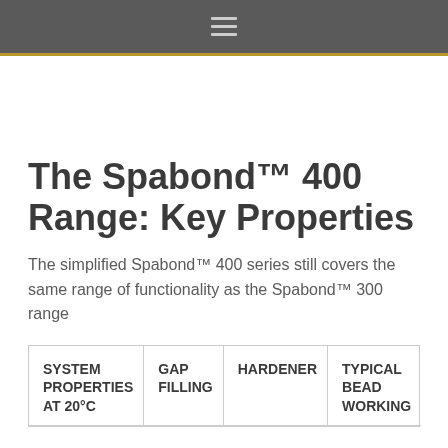≡
The Spabond™ 400 Range: Key Properties
The simplified Spabond™ 400 series still covers the same range of functionality as the Spabond™ 300 range
| SYSTEM PROPERTIES AT 20°C | GAP FILLING | HARDENER | TYPICAL BEAD WORKING |
| --- | --- | --- | --- |